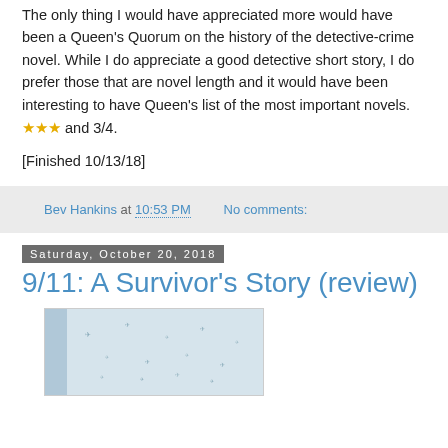The only thing I would have appreciated more would have been a Queen's Quorum on the history of the detective-crime novel. While I do appreciate a good detective short story, I do prefer those that are novel length and it would have been interesting to have Queen's list of the most important novels. ★★★ and 3/4.
[Finished 10/13/18]
Bev Hankins at 10:53 PM   No comments:
Saturday, October 20, 2018
9/11: A Survivor's Story (review)
[Figure (photo): Partial book cover image, light blue/grey tones with scattered small bird or plane silhouettes]